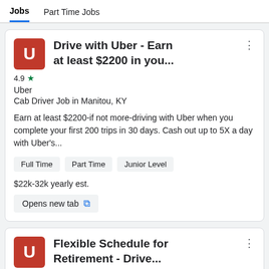Jobs  Part Time Jobs
Drive with Uber - Earn at least $2200 in you...
Uber
Cab Driver Job in Manitou, KY
Earn at least $2200-if not more-driving with Uber when you complete your first 200 trips in 30 days. Cash out up to 5X a day with Uber's...
Full Time
Part Time
Junior Level
$22k-32k yearly est.
Opens new tab
Flexible Schedule for Retirement - Drive...
Ub...